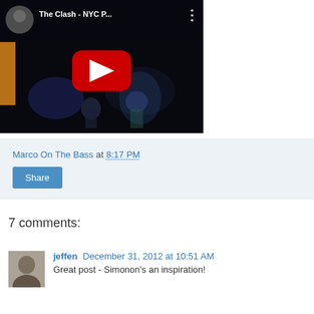[Figure (screenshot): YouTube video thumbnail showing The Clash - NYC P... with a play button over a dark concert stage image]
Marco On The Bass at 8:17 PM
Share
7 comments:
jeffen December 31, 2012 at 10:51 AM
Great post - Simonon's an inspiration!